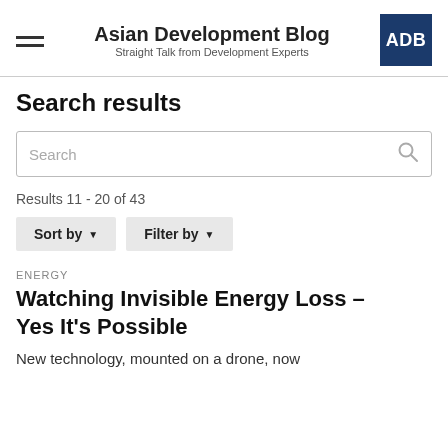Asian Development Blog — Straight Talk from Development Experts
Search results
Results 11 - 20 of 43
Sort by ▾   Filter by ▾
ENERGY
Watching Invisible Energy Loss – Yes It's Possible
New technology, mounted on a drone, now